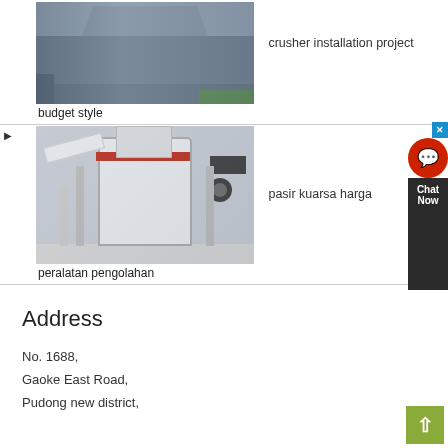[Figure (photo): Industrial crusher machine installation project photo showing a grey cone crusher mounted on a frame with orange ring, green floor visible]
crusher installation project
budget style
▶
[Figure (photo): Industrial vertical mill equipment for quartz sand processing, white cylindrical body with red ring, pipes and frame structure]
pasir kuarsa harga
peralatan pengolahan
[Figure (other): Chat Now customer support widget with red circle icon, dark background, blue X close button]
Address
No. 1688,
Gaoke East Road,
Pudong new district,